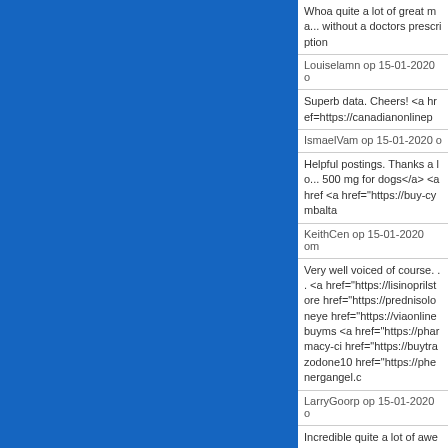[Figure (other): Blue sidebar panel on the left side of the page]
Whoa quite a lot of great ma... without a doctors prescription
Louiselamn op 15-01-2020 o
Superb data. Cheers! <a href=https://canadianonlinep
IsmaelVam op 15-01-2020 o
Helpful postings. Thanks a lo... 500 mg for dogs</a> <a href <a href="https://buy-cymbalta
KeithCen op 15-01-2020 om
Very well voiced of course. . . <a href="https://lisinoprilstore href="https://prednisoloneye href="https://viaonlinebuyms <a href="https://pharmacy-ci href="https://buytrazodone10 href="https://phenergangel.c
LarryGoorp op 15-01-2020 o
Incredible quite a lot of awes... href="https://ciaonlinebuyntx
ClarkAdola op 15-01-2020 o
Awesome knowledge. Cheer